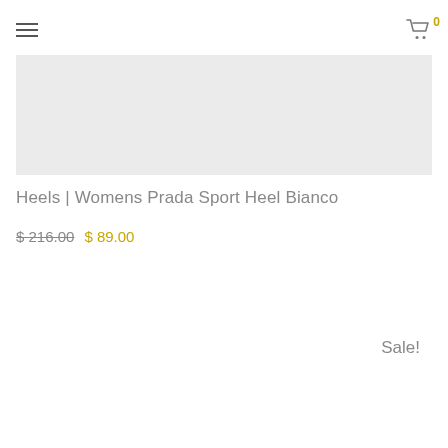Navigation header with hamburger menu and cart icon (0 items)
[Figure (photo): Light gray product image placeholder area for Womens Prada Sport Heel Bianco]
Heels | Womens Prada Sport Heel Bianco
$ 216.00 $ 89.00
Sale!